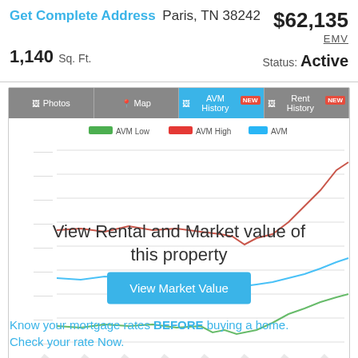Get Complete Address Paris, TN 38242
$62,135
1,140 Sq. Ft.
EMV
Status: Active
[Figure (line-chart): AVM History line chart showing AVM Low (green), AVM High (red), and AVM (blue) lines over time, with overlay text 'View Rental and Market value of this property' and a 'View Market Value' button]
Know your mortgage rates BEFORE buying a home. Check your rate Now.